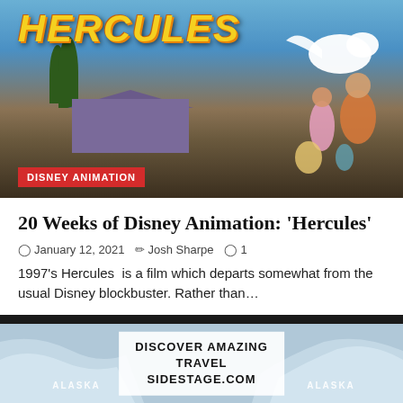[Figure (illustration): Disney Hercules movie promotional image showing characters including Hercules, Pegasus, and Meg against a Greek landscape background, with 'HERCULES' title in yellow stylized font and a red 'DISNEY ANIMATION' badge in the lower left]
20 Weeks of Disney Animation: ‘Hercules’
◭January 12, 2021  ✎Josh Sharpe  ◡ 1
1997’s Hercules  is a film which departs somewhat from the usual Disney blockbuster. Rather than…
[Figure (illustration): Second Disney Hercules image showing a character with arms outstretched against a blue sky background, partially cut off at bottom]
DISCOVER AMAZING TRAVEL SIDESTAGE.COM
ALASKA   ALASKA